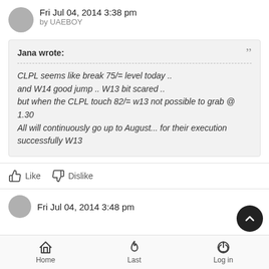Fri Jul 04, 2014 3:38 pm
by UAEBOY
Jana wrote:
CLPL seems like break 75/= level today ..
and W14 good jump .. W13 bit scared ..
but when the CLPL touch 82/= w13 not possible to grab @ 1.30
All will continuously go up to August... for their execution successfully W13
Like   Dislike
Fri Jul 04, 2014 3:48 pm
Home   Last   Log in